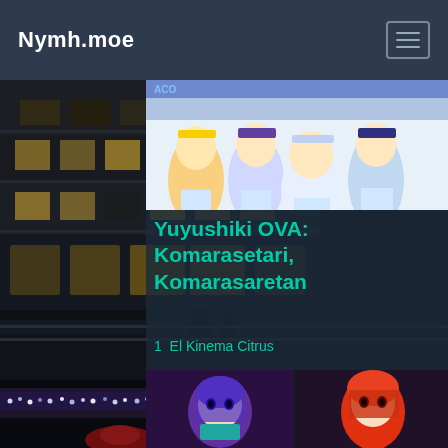Nymh.moe
[Figure (photo): Dark nighttime photo of a multi-story building with lit windows and balconies, rainy atmosphere]
[Figure (illustration): Anime key visual for Yuyushiki OVA: Komarasetari, Komarasaretari — four anime girls in school uniforms]
Yuyushiki OVA: Komarasetari, Komarasaretari
1  El Kinema Citrus
[Figure (illustration): Two anime character thumbnails for Zan Sayonara Zetsubou Sensei Bangaichi]
Zan Sayonara Zetsubou Sensei Bangaichi